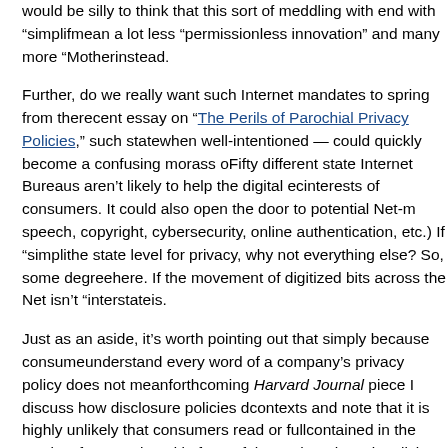would be silly to think that this sort of meddling with end with "simplif... mean a lot less "permissionless innovation" and many more "Mother... instead.
Further, do we really want such Internet mandates to spring from the... recent essay on "The Perils of Parochial Privacy Policies," such state... when well-intentioned — could quickly become a confusing morass o... Fifty different state Internet Bureaus aren't likely to help the digital ec... interests of consumers. It could also open the door to potential Net-m... speech, copyright, cybersecurity, online authentication, etc.) If "simpli... the state level for privacy, why not everything else? So, some degree... here. If the movement of digitized bits across the Net isn't "interstate... is.
Just as an aside, it's worth pointing out that simply because consume... understand every word of a company's privacy policy does not mean... forthcoming Harvard Journal piece I discuss how disclosure policies d... contexts and note that it is highly unlikely that consumers read or full... contained in the stacks of paper placed in front of them when they sig... policies, or car loans and warranties. Such documents are full of inco... stipulations, even though regulations govern many of these contracts...